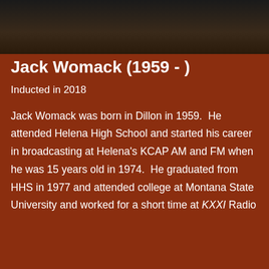[Figure (photo): Black and white or dark portrait photo of Jack Womack]
Jack Womack (1959 - )
Inducted in 2018
Jack Womack was born in Dillon in 1959.  He attended Helena High School and started his career in broadcasting at Helena's KCAP AM and FM when he was 15 years old in 1974.  He graduated from HHS in 1977 and attended college at Montana State University and worked for a short time at KXXI Radio